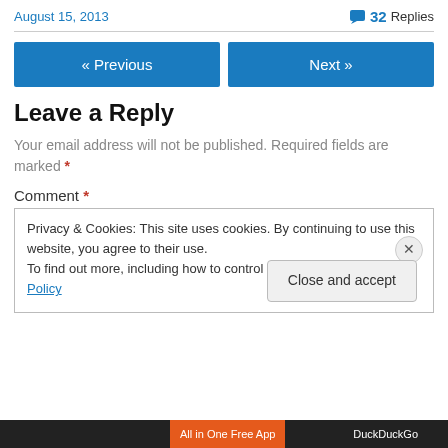August 15, 2013
💬 32 Replies
« Previous
Next »
Leave a Reply
Your email address will not be published. Required fields are marked *
Comment *
Privacy & Cookies: This site uses cookies. By continuing to use this website, you agree to their use.
To find out more, including how to control cookies, see here: Cookie Policy
Close and accept